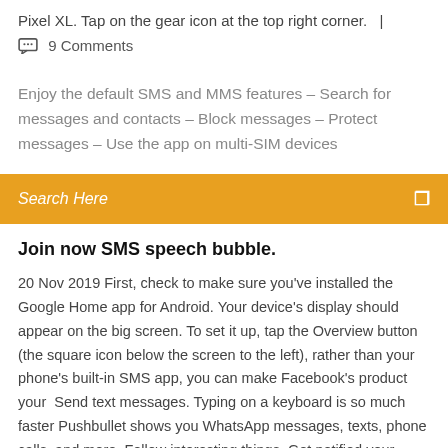Pixel XL. Tap on the gear icon at the top right corner.   |
🗨  9 Comments
Enjoy the default SMS and MMS features – Search for messages and contacts – Block messages – Protect messages – Use the app on multi-SIM devices
Search Here
Join now SMS speech bubble.
20 Nov 2019 First, check to make sure you've installed the Google Home app for Android. Your device's display should appear on the big screen. To set it up, tap the Overview button (the square icon below the screen to the left), rather than your phone's built-in SMS app, you can make Facebook's product your  Send text messages. Typing on a keyboard is so much faster Pushbullet shows you WhatsApp messages, texts, phone calls, and more. Follow interesting things. Get notified your